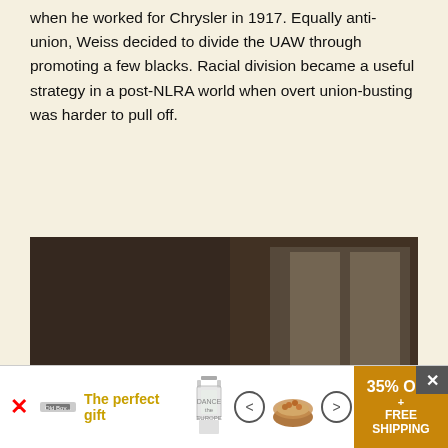when he worked for Chrysler in 1917. Equally anti-union, Weiss decided to divide the UAW through promoting a few blacks. Racial division became a useful strategy in a post-NLRA world when overt union-busting was harder to pull off.
[Figure (photo): Vintage color photograph of a crowd of people, mostly men, standing outside what appears to be a large industrial building. Many are wearing hats and light-colored shirts. On the right side is visible part of an old vehicle or machine. The scene appears to be from the mid-20th century.]
[Figure (infographic): Advertisement banner: 'The perfect gift' with images of a glass, a bowl of nuts, navigation arrows, and a promotional box reading '35% OFF + FREE SHIPPING'. Close button X visible. Red X close marker on left.]